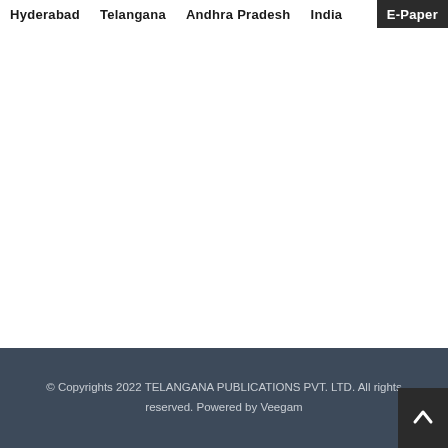Hyderabad | Telangana | Andhra Pradesh | India | E-Paper
© Copyrights 2022 TELANGANA PUBLICATIONS PVT. LTD. All rights reserved. Powered by Veegam